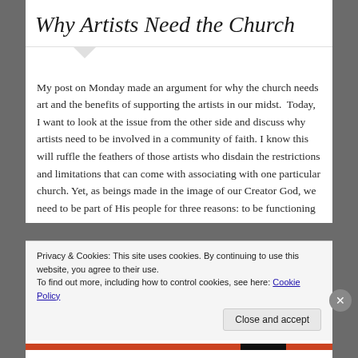Why Artists Need the Church
My post on Monday made an argument for why the church needs art and the benefits of supporting the artists in our midst.  Today, I want to look at the issue from the other side and discuss why artists need to be involved in a community of faith. I know this will ruffle the feathers of those artists who disdain the restrictions and limitations that can come with associating with one particular church. Yet, as beings made in the image of our Creator God, we need to be part of His people for three reasons: to be functioning
Privacy & Cookies: This site uses cookies. By continuing to use this website, you agree to their use.
To find out more, including how to control cookies, see here: Cookie Policy